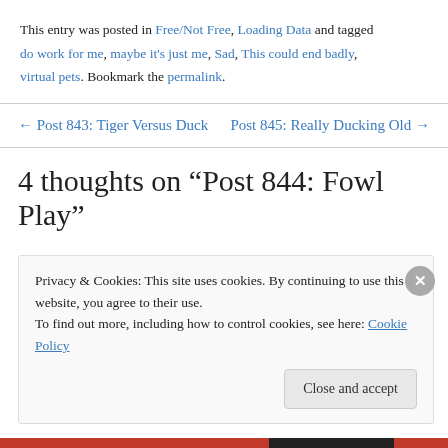This entry was posted in Free/Not Free, Loading Data and tagged do work for me, maybe it's just me, Sad, This could end badly, virtual pets. Bookmark the permalink.
← Post 843: Tiger Versus Duck   Post 845: Really Ducking Old →
4 thoughts on “Post 844: Fowl Play”
Privacy & Cookies: This site uses cookies. By continuing to use this website, you agree to their use.
To find out more, including how to control cookies, see here: Cookie Policy
Close and accept